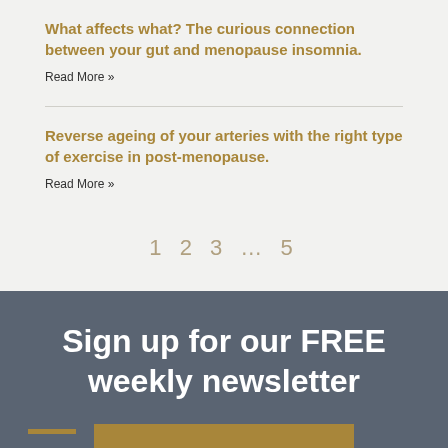What affects what? The curious connection between your gut and menopause insomnia.
Read More »
Reverse ageing of your arteries with the right type of exercise in post-menopause.
Read More »
1 2 3 … 5
Sign up for our FREE weekly newsletter